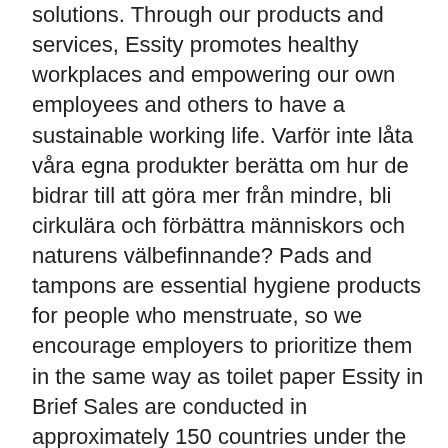solutions. Through our products and services, Essity promotes healthy workplaces and empowering our own employees and others to have a sustainable working life. Varför inte låta våra egna produkter berätta om hur de bidrar till att göra mer från mindre, bli cirkulära och förbättra människors och naturens välbefinnande? Pads and tampons are essential hygiene products for people who menstruate, so we encourage employers to prioritize them in the same way as toilet paper Essity in Brief Sales are conducted in approximately 150 countries under the leading global brands TENA and Tork, and other strong brands, such as JOBST, Leukoplast, Libero, Libresse, Lotus, Nosotras, Saba, Tempo, Vinda and Zewa. Global Technical Innovation Manager, Intimate Skin Protection, Incontinence Care at Essity.